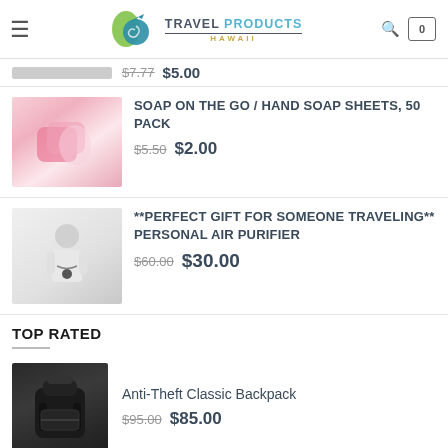Travel Products Hawaii
$7.77  $5.00
SOAP ON THE GO / HAND SOAP SHEETS, 50 PACK — $5.50  $2.00
**PERFECT GIFT FOR SOMEONE TRAVELING** PERSONAL AIR PURIFIER — $60.00  $30.00
TOP RATED
Anti-Theft Classic Backpack — $95.00  $85.00
Deluxe Wrap-N-Rest Pillow